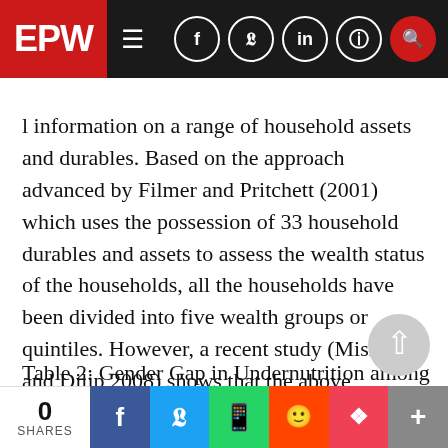EPW — Economic & Political Weekly navigation bar
l information on a range of household assets and durables. Based on the approach advanced by Filmer and Pritchett (2001) which uses the possession of 33 household durables and assets to assess the wealth status of the households, all the households have been divided into five wealth groups or quintiles. However, a recent study (Mishra and Dilip 2008) shows that the above methodology is insensitive to differences between both rural-urban and states in India. Hence, we use the improved methodology suggested by Mishra and Dilip (2008).
Table 2: Gender Gap in Undernutrition among